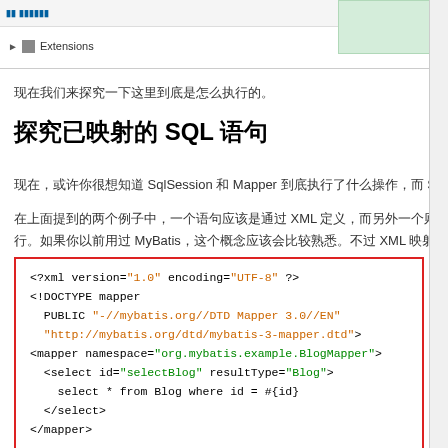[Figure (screenshot): IDE/explorer panel showing Extensions node in a tree view, with a green panel to the right]
现在我们来探究一下这里到底是怎么执行的。
探究已映射的 SQL 语句
现在，或许你很想知道 SqlSession 和 Mapper 到底执行了什么操作，而 S...
在上面提到的两个例子中，一个语句应该是通过 XML 定义，而另外一个则是...行。如果你以前用过 MyBatis，这个概念应该会比较熟悉。不过 XML 映射文...
<?xml version="1.0" encoding="UTF-8" ?>
<!DOCTYPE mapper
  PUBLIC "-//mybatis.org//DTD Mapper 3.0//EN"
  "http://mybatis.org/dtd/mybatis-3-mapper.dtd">
<mapper namespace="org.mybatis.example.BlogMapper">
  <select id="selectBlog" resultType="Blog">
    select * from Blog where id = #{id}
  </select>
</mapper>